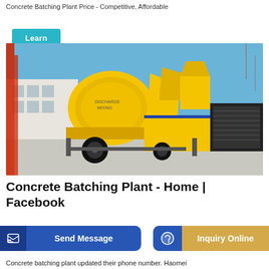Concrete Batching Plant Price - Competitive, Affordable
Learn More
[Figure (photo): Yellow concrete batching plant / mixer pump machine with black diesel engine unit on wheels, parked outdoors with red crane and industrial building in background, clear blue sky.]
Concrete Batching Plant - Home | Facebook
Send Message
Inquiry Online
Concrete batching plant updated their phone number. Haomei